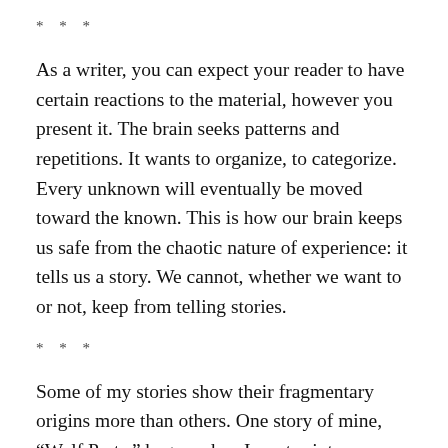* * *
As a writer, you can expect your reader to have certain reactions to the material, however you present it. The brain seeks patterns and repetitions. It wants to organize, to categorize. Every unknown will eventually be moved toward the known. This is how our brain keeps us safe from the chaotic nature of experience: it tells us a story. We cannot, whether we want to or not, keep from telling stories.
* * *
Some of my stories show their fragmentary origins more than others. One story of mine, “Wolf Parts,” began when I wrote sixty different micro-retellings of Little Red Riding Hood, permutating key elements of the story over and over into new arrangements: the girl,